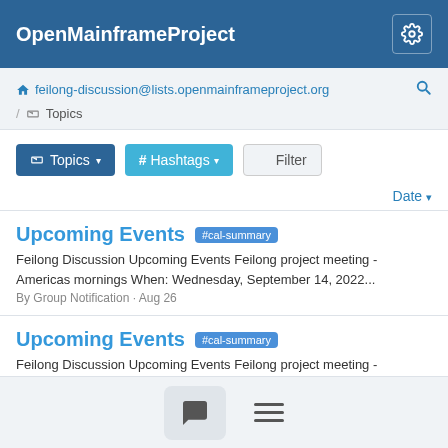OpenMainframeProject
feilong-discussion@lists.openmainframeproject.org / Topics
Topics  # Hashtags  Filter
Date
Upcoming Events #cal-summary
Feilong Discussion Upcoming Events Feilong project meeting - Americas mornings When: Wednesday, September 14, 2022... By Group Notification · Aug 26
Upcoming Events #cal-summary
Feilong Discussion Upcoming Events Feilong project meeting - Americas mornings When: Wednesday, September 14, 2022...